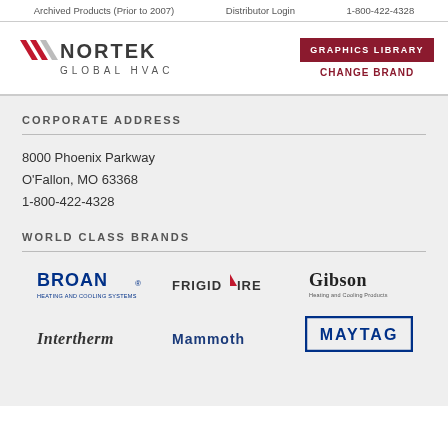Archived Products (Prior to 2007)    Distributor Login    1-800-422-4328
[Figure (logo): Nortek Global HVAC logo with red chevron/arrow icon and bold text NORTEK GLOBAL HVAC]
[Figure (other): GRAPHICS LIBRARY button (dark red) and CHANGE BRAND link (red text)]
CORPORATE ADDRESS
8000 Phoenix Parkway
O'Fallon, MO 63368
1-800-422-4328
WORLD CLASS BRANDS
[Figure (logo): Broan Heating and Cooling Systems logo]
[Figure (logo): Frigidaire logo]
[Figure (logo): Gibson Heating and Cooling Products logo]
[Figure (logo): Intertherm logo (partially visible at bottom)]
[Figure (logo): Mammoth logo (partially visible at bottom)]
[Figure (logo): Maytag logo (partially visible at bottom)]